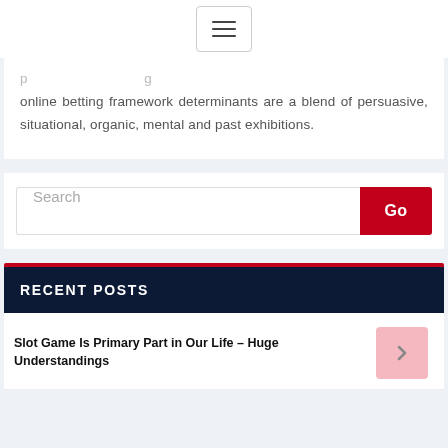[Figure (other): Hamburger menu button icon with three horizontal lines]
online betting framework determinants are a blend of persuasive, situational, organic, mental and past exhibitions.
[Figure (other): Search bar with text input field labeled 'Search' and a red 'Go' button]
RECENT POSTS
Slot Game Is Primary Part in Our Life – Huge Understandings